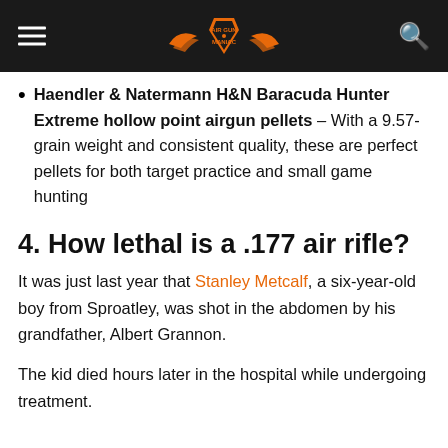Air Gun Maniac (logo/navigation header)
Haendler & Natermann H&N Baracuda Hunter Extreme hollow point airgun pellets – With a 9.57-grain weight and consistent quality, these are perfect pellets for both target practice and small game hunting
4. How lethal is a .177 air rifle?
It was just last year that Stanley Metcalf, a six-year-old boy from Sproatley, was shot in the abdomen by his grandfather, Albert Grannon.
The kid died hours later in the hospital while undergoing treatment.